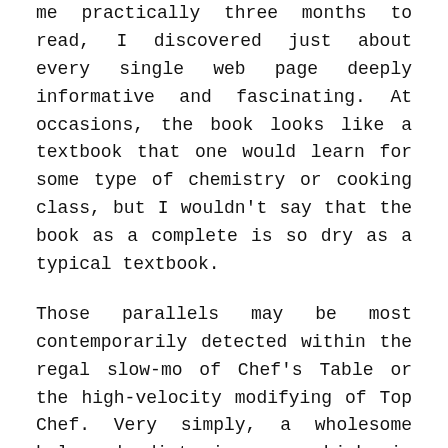me practically three months to read, I discovered just about every single web page deeply informative and fascinating. At occasions, the book looks like a textbook that one would learn for some type of chemistry or cooking class, but I wouldn't say that the book as a complete is so dry as a typical textbook.
Those parallels may be most contemporarily detected within the regal slow-mo of Chef's Table or the high-velocity modifying of Top Chef. Very simply, a wholesome balanced diet is one which is stuffed with variety and served in the best proportions. A sensible software to assist with that is the Eat Well Guide. Explained here, the Eat Well Guide illustrates the proportion of foods from each food group we ought to always aim to eat overall to achieve a healthy, balanced food regimen. The best way